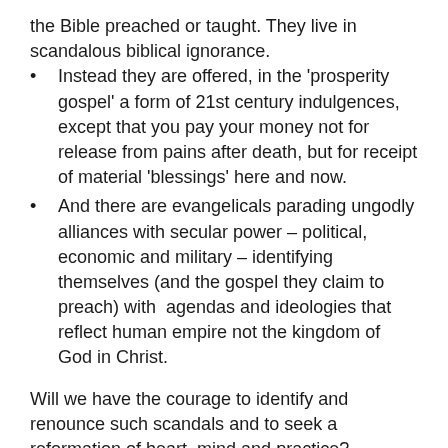the Bible preached or taught. They live in scandalous biblical ignorance.
Instead they are offered, in the ‘prosperity gospel’ a form of 21st century indulgences, except that you pay your money not for release from pains after death, but for receipt of material ‘blessings’ here and now.
And there are evangelicals parading ungodly alliances with secular power – political, economic and military – identifying themselves (and the gospel they claim to preach) with  agendas and ideologies that reflect human empire not the kingdom of God in Christ.
Will we have the courage to identify and renounce such scandals and to seek a reformation of heart, mind and practice?
The 16th Century Reformation was criticized because it lacked missionary awareness and energy until much